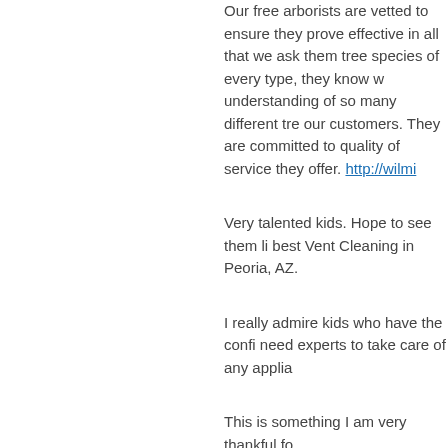Our free arborists are vetted to ensure they prove effective in all that we ask them tree species of every type, they know with understanding of so many different tree our customers. They are committed to quality of service they offer. http://wilmi
Very talented kids. Hope to see them li best Vent Cleaning in Peoria, AZ.
I really admire kids who have the confi need experts to take care of any applia
This is something I am very thankful fo
Thank you pertaining to sharing this gr website. I came across this on goggle. for more.